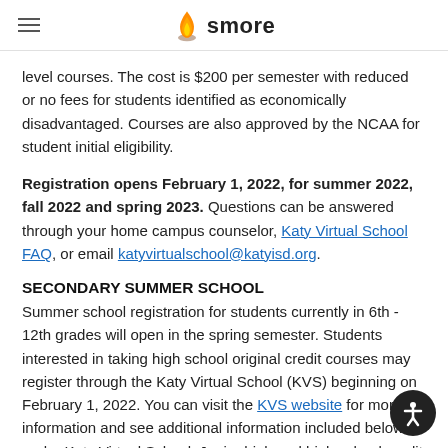smore
level courses. The cost is $200 per semester with reduced or no fees for students identified as economically disadvantaged. Courses are also approved by the NCAA for student initial eligibility.
Registration opens February 1, 2022, for summer 2022, fall 2022 and spring 2023. Questions can be answered through your home campus counselor, Katy Virtual School FAQ, or email katyvirtualschool@katyisd.org.
SECONDARY SUMMER SCHOOL
Summer school registration for students currently in 6th - 12th grades will open in the spring semester. Students interested in taking high school original credit courses may register through the Katy Virtual School (KVS) beginning on February 1, 2022. You can visit the KVS website for more information and see additional information included below under Katy Virtual School. Junior high and high school credit recovery course